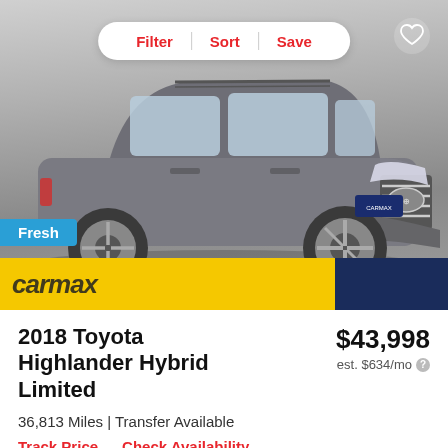[Figure (photo): 2018 Toyota Highlander Hybrid Limited SUV in gray, front 3/4 view on a light gray showroom floor. A white pill-shaped toolbar with Filter, Sort, Save buttons in red overlays the top-center of the image. A heart/favorite icon is in the top-right. A blue 'Fresh' badge is in the lower-left. A yellow CarMax banner appears at the bottom of the image.]
2018 Toyota Highlander Hybrid Limited
$43,998
est. $634/mo
36,813 Miles | Transfer Available
Track Price   Check Availability